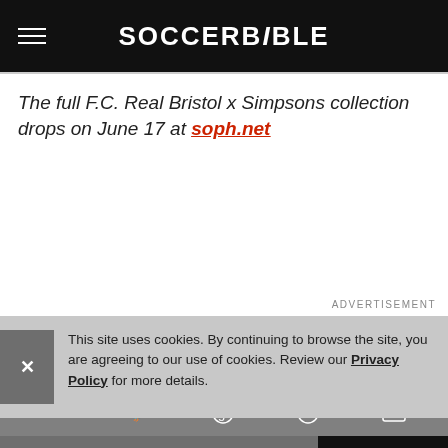SOCCERBIBLE
The full F.C. Real Bristol x Simpsons collection drops on June 17 at soph.net
ADVERTISEMENT
This site uses cookies. By continuing to browse the site, you are agreeing to our use of cookies. Review our Privacy Policy for more details.
SUBSCRIBE